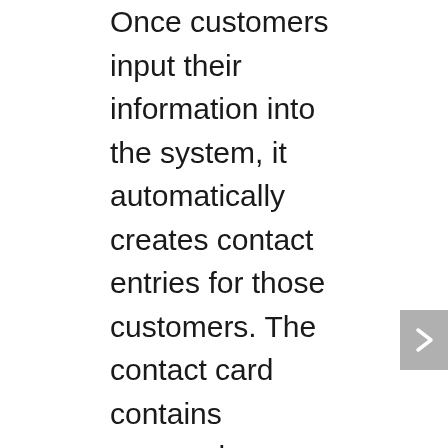Once customers input their information into the system, it automatically creates contact entries for those customers. The contact card contains personal information such as name, address, phone number, and email addresses. As companies grow, they can add more staff members as well as create additional booking pages for free. Furthermore, staff members aren't required to have Office 365 subscriptions to be a part of the service.
Efficient tech resources aren't enough to maintain a successful business anymore; in order to really stand out from competitors, comprehensive appointment management is required. Feel free to give us a call if you